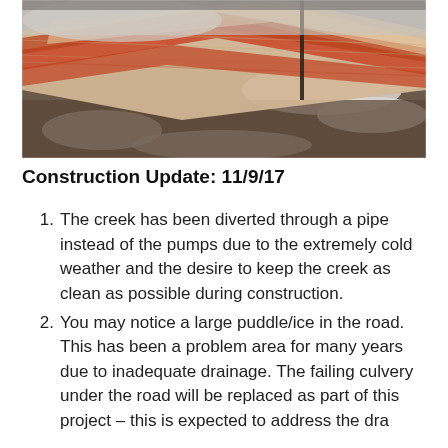[Figure (photo): Outdoor construction site photo showing orange/red erosion control silt fence netting laid diagonally across snowy, muddy ground. A dark metal stake is visible in the background. Snow patches visible on brown soil.]
Construction Update: 11/9/17
The creek has been diverted through a pipe instead of the pumps due to the extremely cold weather and the desire to keep the creek as clean as possible during construction.
You may notice a large puddle/ice in the road. This has been a problem area for many years due to inadequate drainage. The failing culvery under the road will be replaced as part of this project – this is expected to address the drainage problem.